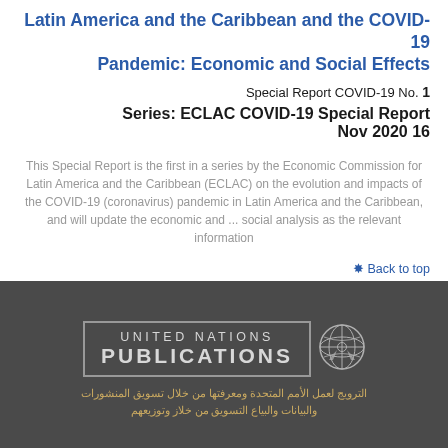Latin America and the Caribbean and the COVID-19 Pandemic: Economic and Social Effects
Special Report COVID-19 No. 1
Series: ECLAC COVID-19 Special Report
Nov 2020 16
This Special Report is the first in a series by the Economic Commission for Latin America and the Caribbean (ECLAC) on the evolution and impacts of the COVID-19 (coronavirus) pandemic in Latin America and the Caribbean, and will update the economic and ... social analysis as the relevant information
⋈ Back to top
[Figure (logo): United Nations Publications logo with UN emblem on dark grey background]
الترويج لعمل الأمم المتحدة ومعرفتها من خلال تسويق المنشورات والبيانات والبياع التسويق من خلاز وتوزيعهم